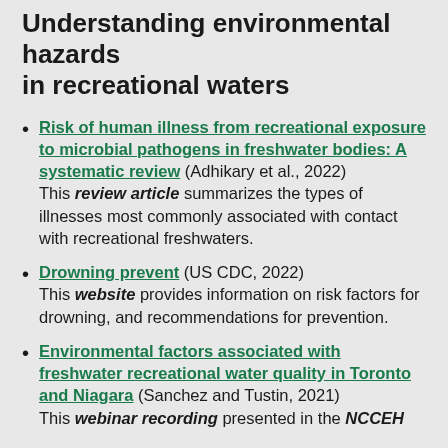Understanding environmental hazards in recreational waters
Risk of human illness from recreational exposure to microbial pathogens in freshwater bodies: A systematic review (Adhikary et al., 2022) This review article summarizes the types of illnesses most commonly associated with contact with recreational freshwaters.
Drowning prevent (US CDC, 2022) This website provides information on risk factors for drowning, and recommendations for prevention.
Environmental factors associated with freshwater recreational water quality in Toronto and Niagara (Sanchez and Tustin, 2021) This webinar recording presented in the NCCEH